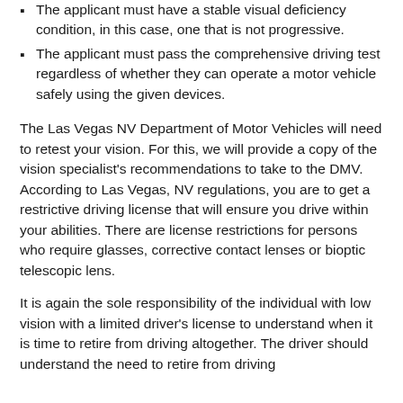The applicant must have a stable visual deficiency condition, in this case, one that is not progressive.
The applicant must pass the comprehensive driving test regardless of whether they can operate a motor vehicle safely using the given devices.
The Las Vegas NV Department of Motor Vehicles will need to retest your vision. For this, we will provide a copy of the vision specialist's recommendations to take to the DMV. According to Las Vegas, NV regulations, you are to get a restrictive driving license that will ensure you drive within your abilities. There are license restrictions for persons who require glasses, corrective contact lenses or bioptic telescopic lens.
It is again the sole responsibility of the individual with low vision with a limited driver's license to understand when it is time to retire from driving altogether. The driver should understand the need to retire from driving